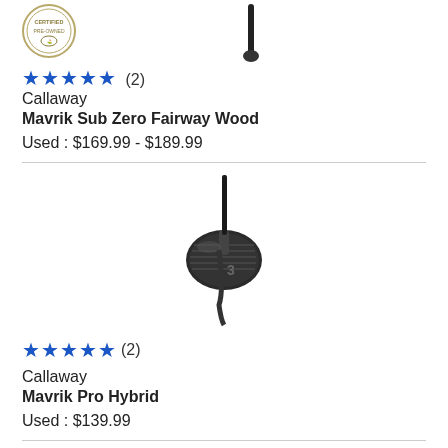[Figure (photo): Golf club fairway wood with black shaft, partially visible at top, with Certified Pre-owned badge on the left]
★★★★★ (2)
Callaway
Mavrik Sub Zero Fairway Wood
Used : $169.99 - $189.99
[Figure (photo): Callaway Mavrik Pro Hybrid golf club head, dark metallic finish, viewed from above at angle]
★★★★★ (2)
Callaway
Mavrik Pro Hybrid
Used : $139.99